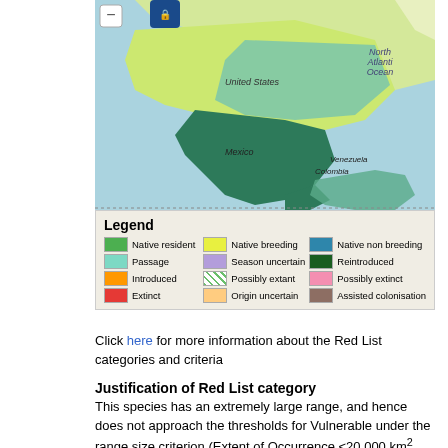[Figure (map): Map of North America showing species range distribution with colored regions over United States, Mexico, Venezuela, Colombia area. North Atlantic Ocean labeled. Interactive map with zoom controls.]
Legend
Native resident | Native breeding | Native non breeding
Passage | Season uncertain | Reintroduced
Introduced | Possibly extant | Possibly extinct
Extinct | Origin uncertain | Assisted colonisation
Click here for more information about the Red List categories and criteria
Justification of Red List category
This species has an extremely large range, and hence does not approach the thresholds for Vulnerable under the range size criterion (Extent of Occurrence <20,000 km2 combined with a declining or fluctuating range size, habitat extent/quality, or population size and a small number of locations or severe fragmentation). Despite the fact that the population trend appears to be decreasing, the decline is not believed to be sufficiently rapid to approach the thresholds for